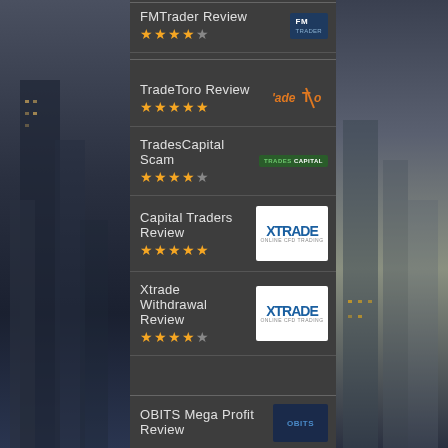FMTrader Review ★★★★½
TradeToro Review ★★★★★
TradesCapital Scam ★★★★½
Capital Traders Review ★★★★★
Xtrade Withdrawal Review ★★★★½
OBITS Mega Profit Review